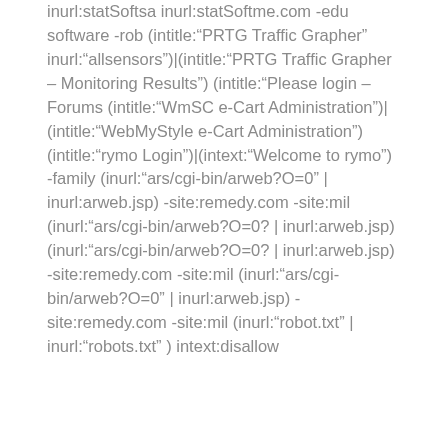inurl:statSoftsa inurl:statSoftme.com -edu software -rob (intitle:"PRTG Traffic Grapher" inurl:"allsensors")|(intitle:"PRTG Traffic Grapher – Monitoring Results") (intitle:"Please login – Forums (intitle:"WmSC e-Cart Administration")|(intitle:"WebMyStyle e-Cart Administration") (intitle:"rymo Login")|(intext:"Welcome to rymo") -family (inurl:"ars/cgi-bin/arweb?O=0" | inurl:arweb.jsp) -site:remedy.com -site:mil (inurl:"ars/cgi-bin/arweb?O=0? | inurl:arweb.jsp) (inurl:"ars/cgi-bin/arweb?O=0? | inurl:arweb.jsp) -site:remedy.com -site:mil (inurl:"ars/cgi-bin/arweb?O=0" | inurl:arweb.jsp) -site:remedy.com -site:mil (inurl:"robot.txt" | inurl:"robots.txt" ) intext:disallow